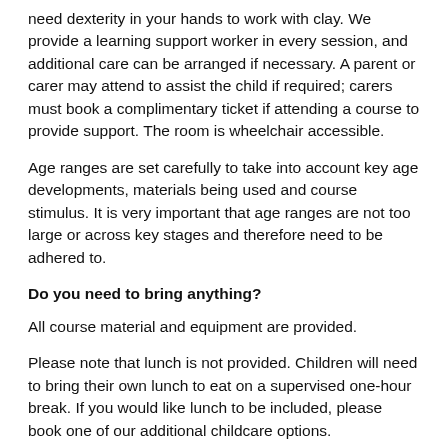need dexterity in your hands to work with clay. We provide a learning support worker in every session, and additional care can be arranged if necessary. A parent or carer may attend to assist the child if required; carers must book a complimentary ticket if attending a course to provide support. The room is wheelchair accessible.
Age ranges are set carefully to take into account key age developments, materials being used and course stimulus. It is very important that age ranges are not too large or across key stages and therefore need to be adhered to.
Do you need to bring anything?
All course material and equipment are provided.
Please note that lunch is not provided. Children will need to bring their own lunch to eat on a supervised one-hour break. If you would like lunch to be included, please book one of our additional childcare options.